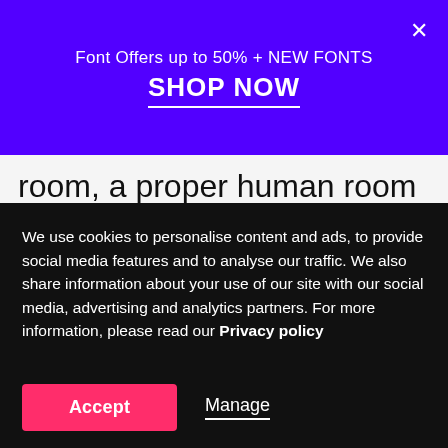Font Offers up to 50% + NEW FONTS
SHOP NOW
room, a proper human room although a little too small, lay peacefully between its four familiar walls. A collection of textile samples lay spread out on the table - Samsa was a travelling salesman - and above it there hung a picture that he had
We use cookies to personalise content and ads, to provide social media features and to analyse our traffic. We also share information about your use of our site with our social media, advertising and analytics partners. For more information, please read our Privacy policy
Accept
Manage